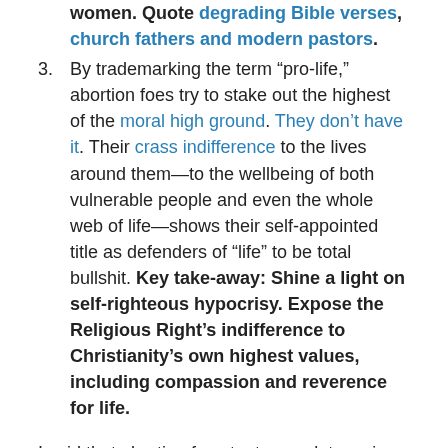women. Quote degrading Bible verses, church fathers and modern pastors.
By trademarking the term “pro-life,” abortion foes try to stake out the highest of the moral high ground. They don't have it. Their crass indifference to the lives around them—to the wellbeing of both vulnerable people and even the whole web of life—shows their self-appointed title as defenders of “life” to be total bullshit. Key take-away: Shine a light on self-righteous hypocrisy. Expose the Religious Right’s indifference to Christianity’s own highest values, including compassion and reverence for life.
I said that abortion foes try to speak to us in language we understand, by appealing to our sources of authority, science and conscience. When we appeal to people who are on our side or neutral or secular, we should do the